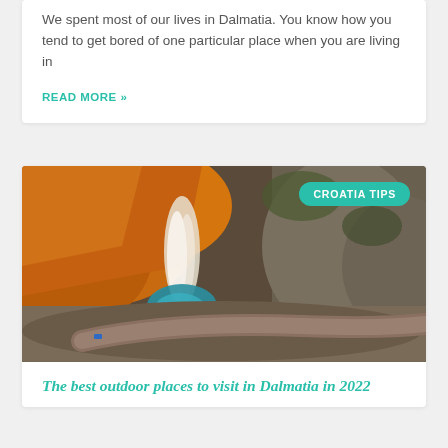We spent most of our lives in Dalmatia. You know how you tend to get bored of one particular place when you are living in
READ MORE »
[Figure (photo): Aerial view of a waterfall flowing into a teal pool surrounded by orange-colored rock formations and a fallen tree trunk. Badge reads CROATIA TIPS.]
The best outdoor places to visit in Dalmatia in 2022